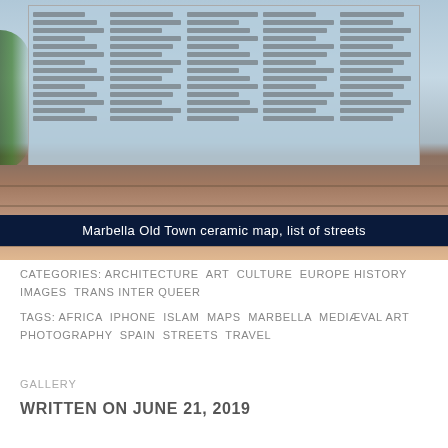[Figure (photo): Photograph of a ceramic map/sign board mounted on a brick wall showing a list of streets in Marbella Old Town. The sign has a blue-white ceramic background with columns of text listing street names and numbers. Below the sign is a brick wall in warm terracotta tones.]
Marbella Old Town ceramic map, list of streets
CATEGORIES: ARCHITECTURE ART CULTURE EUROPE HISTORY IMAGES TRANS INTER QUEER
TAGS: AFRICA IPHONE ISLAM MAPS MARBELLA MEDIÆVAL ART PHOTOGRAPHY SPAIN STREETS TRAVEL
GALLERY
WRITTEN ON JUNE 21, 2019